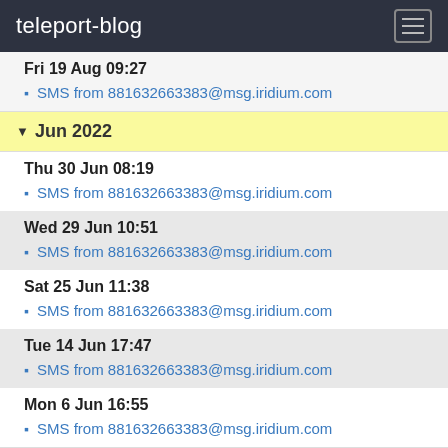teleport-blog
Fri 19 Aug 09:27
SMS from 881632663383@msg.iridium.com
Jun 2022
Thu 30 Jun 08:19
SMS from 881632663383@msg.iridium.com
Wed 29 Jun 10:51
SMS from 881632663383@msg.iridium.com
Sat 25 Jun 11:38
SMS from 881632663383@msg.iridium.com
Tue 14 Jun 17:47
SMS from 881632663383@msg.iridium.com
Mon 6 Jun 16:55
SMS from 881632663383@msg.iridium.com
May 2022
Mon 30 May 09:50